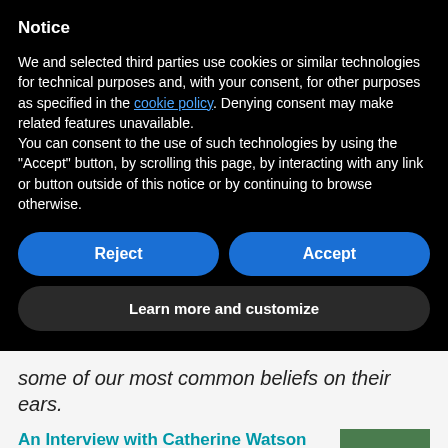Notice
We and selected third parties use cookies or similar technologies for technical purposes and, with your consent, for other purposes as specified in the cookie policy. Denying consent may make related features unavailable.
You can consent to the use of such technologies by using the “Accept” button, by scrolling this page, by interacting with any link or button outside of this notice or by continuing to browse otherwise.
Reject
Accept
Learn more and customize
some of our most common beliefs on their ears.
An Interview with Catherine Watson Genna: As IBCLCs, we